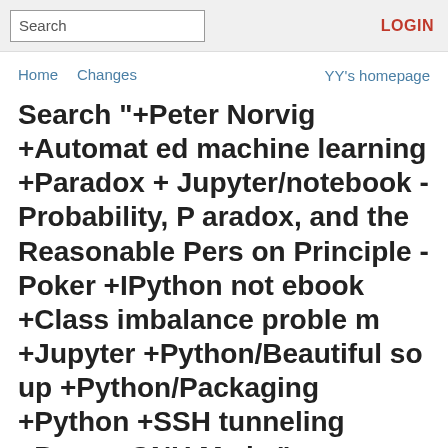Search  LOGIN
Home  Changes  YY's homepage
Search "+Peter Norvig +Automated machine learning +Paradox +Jupyter/notebook -Probability, Paradox, and the Reasonable Person Principle -Poker +IPython notebook +Class imbalance problem +Jupyter +Python/Beautiful soup +Python/Packaging +Python +SSH tunneling +Proxy -GNU Make"
Pages related to: